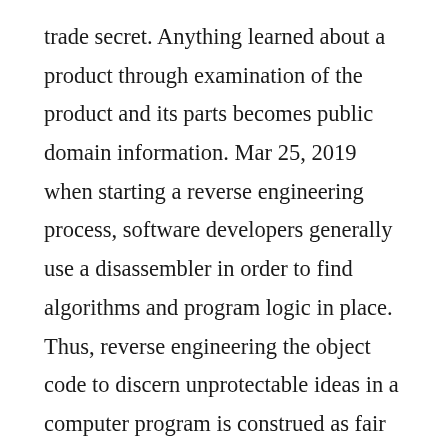trade secret. Anything learned about a product through examination of the product and its parts becomes public domain information. Mar 25, 2019 when starting a reverse engineering process, software developers generally use a disassembler in order to find algorithms and program logic in place. Thus, reverse engineering the object code to discern unprotectable ideas in a computer program is construed as fair use. That is when the legal software reversing is called up a service provided by apriorit software research department. By examining pieces of software